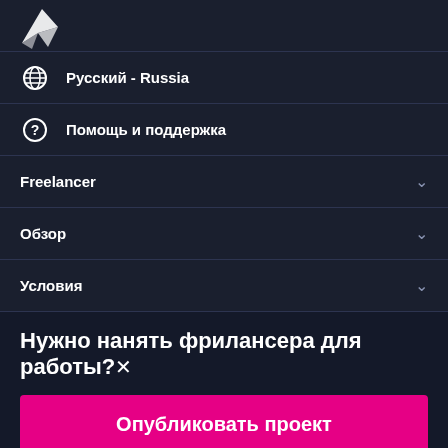[Figure (logo): Freelancer logo — white origami bird/paper plane icon on dark background]
🌐 Русский - Russia
❓ Помощь и поддержка
Freelancer ∨
Обзор ∨
Условия ∨
Нужно нанять фрилансера для работы?✕
Опубликовать проект